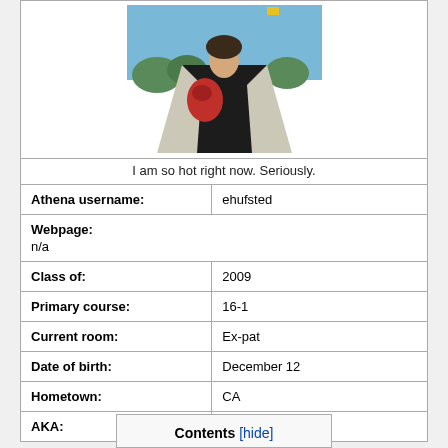[Figure (photo): Person wearing a white jacket and black shirt with a red bag, photographed from below against a blue sky background]
I am so hot right now. Seriously.
| Athena username: | ehufsted |
| Webpage:
n/a |  |
| Class of: | 2009 |
| Primary course: | 16-1 |
| Current room: | Ex-pat |
| Date of birth: | December 12 |
| Hometown: | CA |
| AKA: | Dorothy |
Contents [hide]